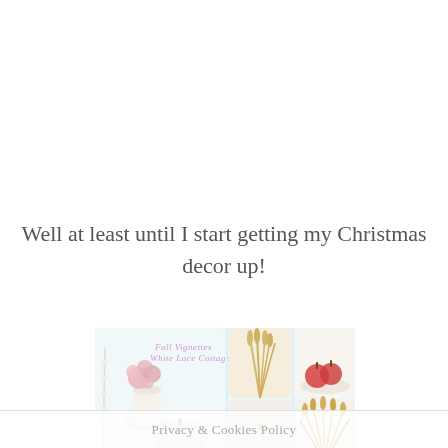Well at least until I start getting my Christmas decor up!
[Figure (photo): Collage of fall vignettes photos from White Lace Cottage: white vase with pink roses, white pumpkin, wheat stalks, red fruit, small pumpkins, and dried wheat fan arrangement. Watermark text reads 'Fall Vignettes White Lace Cottage' in pink/purple script.]
Privacy & Cookies Policy